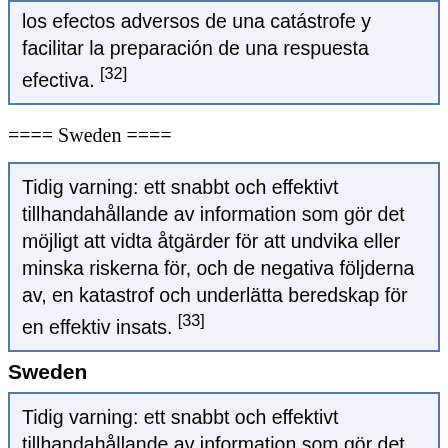los efectos adversos de una catástrofe y facilitar la preparación de una respuesta efectiva. [32]
==== Sweden ====
Tidig varning: ett snabbt och effektivt tillhandahållande av information som gör det möjligt att vidta åtgärder för att undvika eller minska riskerna för, och de negativa följderna av, en katastrof och underlätta beredskap för en effektiv insats. [33]
Sweden
Tidig varning: ett snabbt och effektivt tillhandahållande av information som gör det möjligt att vidta åtgärder för att undvika eller minska riskerna för, och de negativa